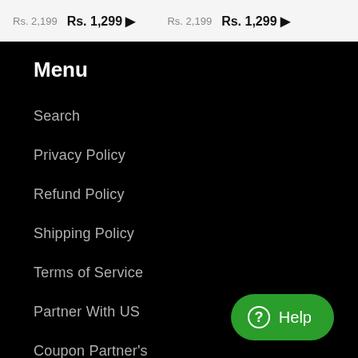Rs. 2,199  Rs. 1,299  Rs. 2,199  Rs. 1,299
Menu
Search
Privacy Policy
Refund Policy
Shipping Policy
Terms of Service
Partner With US
Coupon Partner's
Help